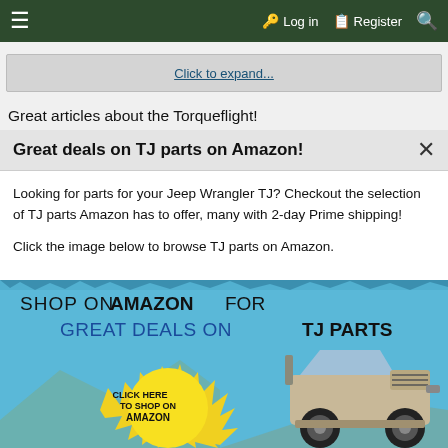≡  Log in  Register 🔍
Click to expand...
Great articles about the Torqueflight!
Great deals on TJ parts on Amazon!
Looking for parts for your Jeep Wrangler TJ? Checkout the selection of TJ parts Amazon has to offer, many with 2-day Prime shipping!
Click the image below to browse TJ parts on Amazon.
[Figure (illustration): Amazon advertisement banner for Jeep Wrangler TJ parts showing a Jeep illustration, a yellow starburst with 'CLICK HERE TO SHOP ON AMAZON' text, and the heading 'SHOP ON AMAZON FOR GREAT DEALS ON TJ PARTS' on a blue sky background.]